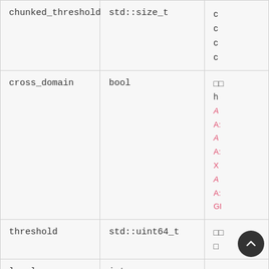| Parameter | Type | Description |
| --- | --- | --- |
| chunked_threshold | std::size_t | cl
cl
cl |
| cross_domain | bool | □□
he
A
A:
A
A:
X
A
A:
GI |
| threshold | std::uint64_t | □□
□ |
| level | int | □□ |